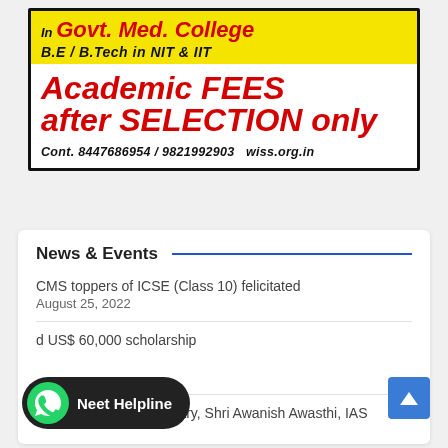[Figure (infographic): Advertisement banner for educational institution. Yellow top bar with text 'In Govt. Med. College B.E / B.Tech in NIT & IIT'. White section with red bold text 'Academic FEES after SELECTION only'. Contact info: Cont. 8447686954 / 9821992903 wiss.org.in]
News & Events
CMS toppers of ICSE (Class 10) felicitated
August 25, 2022
d US$ 60,000 scholarship
Additional Chief Secretary, Shri Awanish Awasthi, IAS